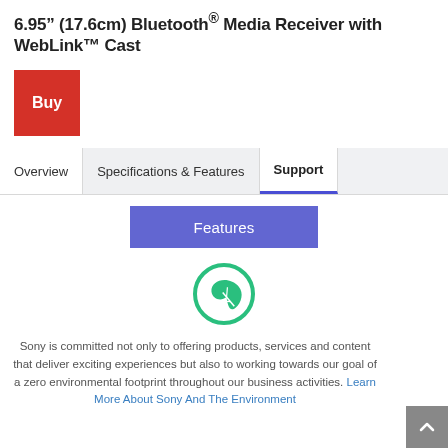6.95" (17.6cm) Bluetooth® Media Receiver with WebLink™ Cast
[Figure (other): Red 'Buy' button]
Overview  Specifications & Features  Support
Features
[Figure (illustration): Green circular eco/leaf icon]
Sony is committed not only to offering products, services and content that deliver exciting experiences but also to working towards our goal of a zero environmental footprint throughout our business activities. Learn More About Sony And The Environment